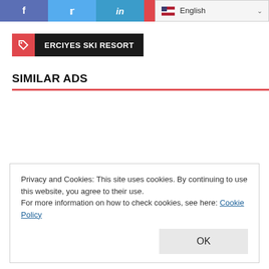f  in  [social sharing bar] | English
ERCIYES SKI RESORT
SIMILAR ADS
Privacy and Cookies: This site uses cookies. By continuing to use this website, you agree to their use.
For more information on how to check cookies, see here: Cookie Policy
OK